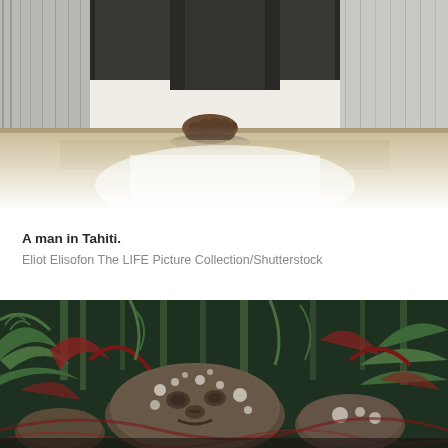[Figure (photo): A black and white photograph showing the bare feet of a man standing in a doorway, with wooden wall panels visible in the background. The lower portion fades to white.]
A man in Tahiti.
Eliot Elisofon The LIFE Picture Collection/Shutterstock
[Figure (photo): A color photograph showing ancient stone carvings or tikis lying among ferns and tropical vegetation. The stones have carved facial features and are covered with lichen and moss.]